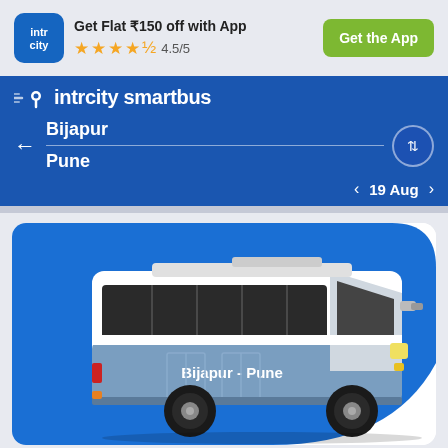[Figure (screenshot): IntrCity app logo - blue rounded square with white 'intr city' text]
Get Flat ₹150 off with App
★★★★½ 4.5/5
Get the App
[Figure (logo): IntrCity SmartBus logo with location pin icon and speed lines]
← Bijapur / Pune
< 19 Aug >
[Figure (illustration): Blue and white intercity bus illustration with 'Bijapur - Pune' text on the side, set against a blue background]
Trip Overview